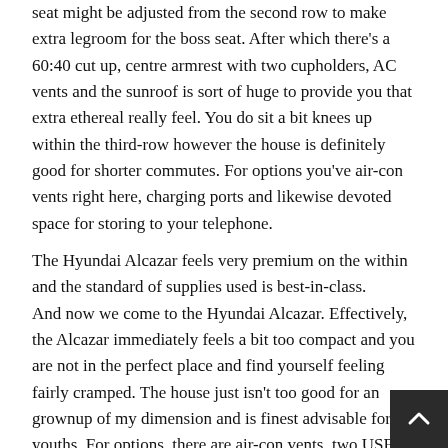seat might be adjusted from the second row to make extra legroom for the boss seat. After which there's a 60:40 cut up, centre armrest with two cupholders, AC vents and the sunroof is sort of huge to provide you that extra ethereal really feel. You do sit a bit knees up within the third-row however the house is definitely good for shorter commutes. For options you've air-con vents right here, charging ports and likewise devoted space for storing to your telephone.
The Hyundai Alcazar feels very premium on the within and the standard of supplies used is best-in-class. And now we come to the Hyundai Alcazar. Effectively, the Alcazar immediately feels a bit too compact and you are not in the perfect place and find yourself feeling fairly cramped. The house just isn't too good for an grownup of my dimension and is finest advisable for youths. For options, there are air-con vents, two USB ports on either side, cupholders and place to maintain your cell. However the second-row is little bit of a mixed-bag. You'll be able